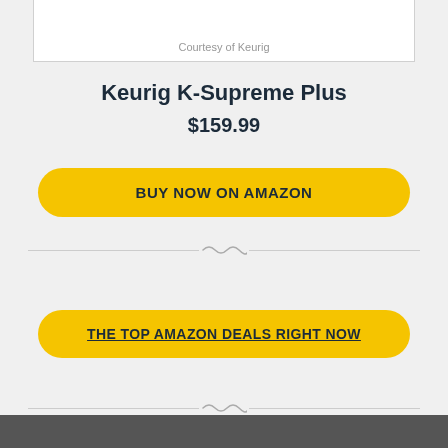Courtesy of Keurig
Keurig K-Supreme Plus
$159.99
BUY NOW ON AMAZON
THE TOP AMAZON DEALS RIGHT NOW